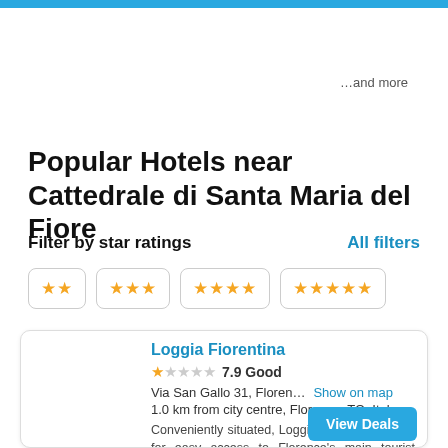…and more
Popular Hotels near Cattedrale di Santa Maria del Fiore
Filter by star ratings
All filters
★★
★★★
★★★★
★★★★★
Loggia Fiorentina
7.9 Good
Via San Gallo 31, Floren… Show on map
1.0 km from city centre, Florence, TO, Italy
Conveniently situated, Loggia Fiorentina allows for easy access to Florence's main tourist attractions.
View Deals